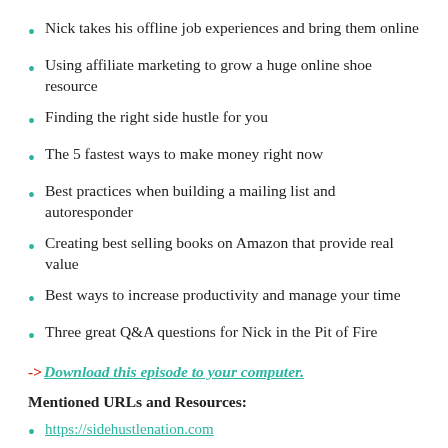Nick takes his offline job experiences and bring them online
Using affiliate marketing to grow a huge online shoe resource
Finding the right side hustle for you
The 5 fastest ways to make money right now
Best practices when building a mailing list and autoresponder
Creating best selling books on Amazon that provide real value
Best ways to increase productivity and manage your time
Three great Q&A questions for Nick in the Pit of Fire
-> Download this episode to your computer.
Mentioned URLs and Resources:
https://sidehustlenation.com
https://twitter.com/nloper